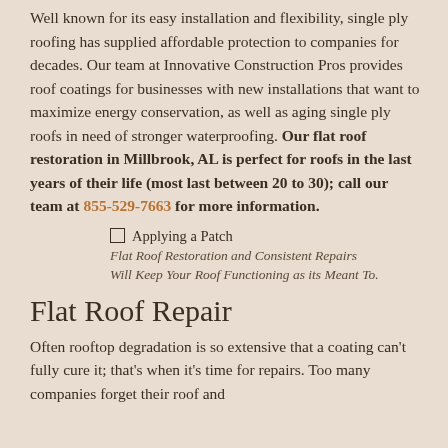Well known for its easy installation and flexibility, single ply roofing has supplied affordable protection to companies for decades. Our team at Innovative Construction Pros provides roof coatings for businesses with new installations that want to maximize energy conservation, as well as aging single ply roofs in need of stronger waterproofing. Our flat roof restoration in Millbrook, AL is perfect for roofs in the last years of their life (most last between 20 to 30); call our team at 855-529-7663 for more information.
Applying a Patch
Flat Roof Restoration and Consistent Repairs Will Keep Your Roof Functioning as its Meant To.
Flat Roof Repair
Often rooftop degradation is so extensive that a coating can't fully cure it; that's when it's time for repairs. Too many companies forget their roof and